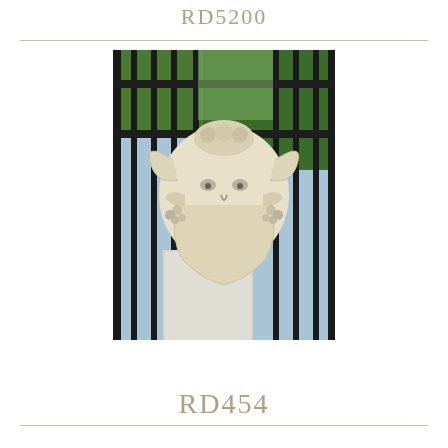RD5200
[Figure (photo): A decorative stone or cast plaster sculptural mask depicting a bearded face (possibly Bacchus/Green Man) with ram horns, grape clusters, and foliage detail, mounted on or near a white stone pillar with black iron gate/fence in the background and green shrubbery visible.]
RD454